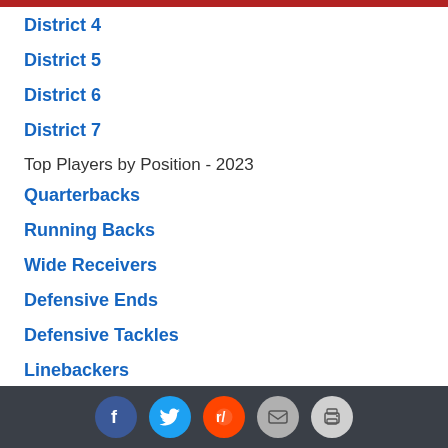District 4
District 5
District 6
District 7
Top Players by Position - 2023
Quarterbacks
Running Backs
Wide Receivers
Defensive Ends
Defensive Tackles
Linebackers
Defensive Backs
Kickers